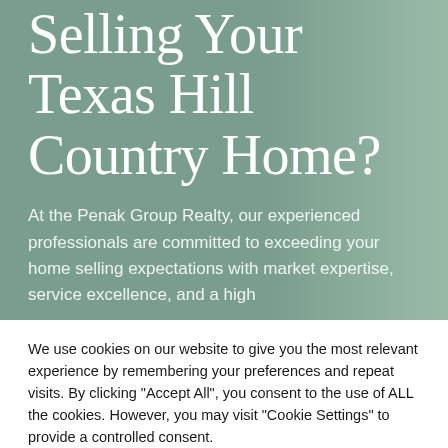Selling Your Texas Hill Country Home?
At the Penak Group Realty, our experienced professionals are committed to exceeding your home selling expectations with market expertise, service excellence, and a high
We use cookies on our website to give you the most relevant experience by remembering your preferences and repeat visits. By clicking "Accept All", you consent to the use of ALL the cookies. However, you may visit "Cookie Settings" to provide a controlled consent.